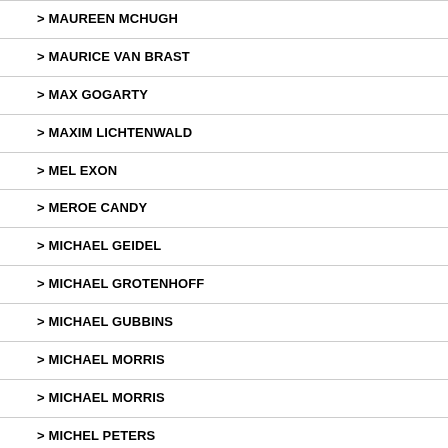> MAUREEN MCHUGH
> MAURICE VAN BRAST
> MAX GOGARTY
> MAXIM LICHTENWALD
> MEL EXON
> MEROE CANDY
> MICHAEL GEIDEL
> MICHAEL GROTENHOFF
> MICHAEL GUBBINS
> MICHAEL MORRIS
> MICHAEL MORRIS
> MICHEL PETERS